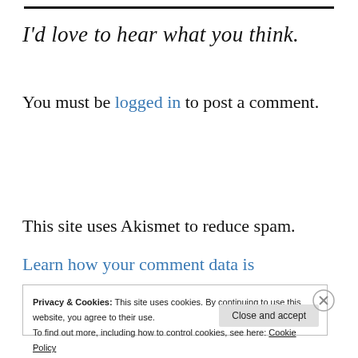I'd love to hear what you think.
You must be logged in to post a comment.
This site uses Akismet to reduce spam.
Learn how your comment data is
Privacy & Cookies: This site uses cookies. By continuing to use this website, you agree to their use.
To find out more, including how to control cookies, see here: Cookie Policy
Close and accept